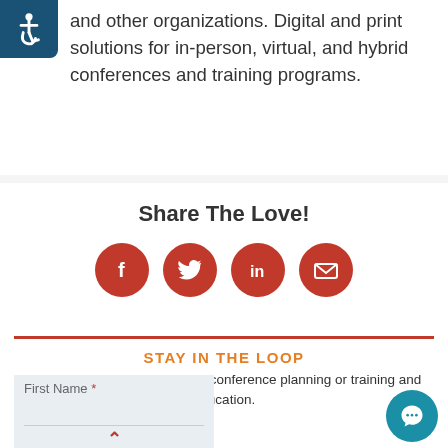[Figure (illustration): Accessibility icon: white wheelchair symbol on dark blue background, top-left corner badge]
and other organizations. Digital and print solutions for in-person, virtual, and hybrid conferences and training programs.
Share The Love!
[Figure (infographic): Four orange circular social media icons in a row: Facebook (f), Twitter (bird), LinkedIn (in), Email (envelope)]
STAY IN THE LOOP
SIGN UP to receive emails on conference planning or training and education.
First Name *
Top
Last Name *